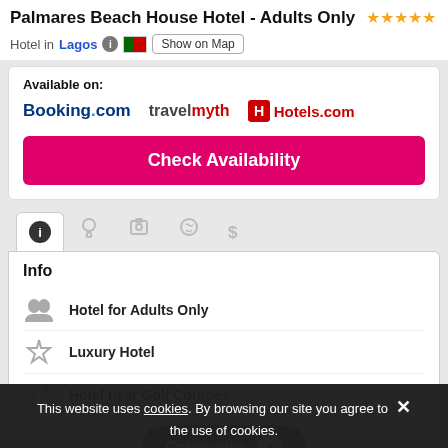Palmares Beach House Hotel - Adults Only ★★★★★
Hotel in Lagos  [info] [PT flag] Show on Map
Available on: Booking.com  travelmyth  Hotels.com
Check Availability
[Figure (infographic): Tab bar with info (active), location, camera, smiley, dollar sign icons]
Info
Hotel for Adults Only
Luxury Hotel
Hotel near Golf Courses
Categories  1
This website uses cookies. By browsing our site you agree to the use of cookies.